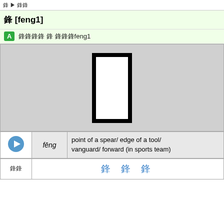鋒 [feng1]
A  鋒鋒鋒鋒 鋒 鋒鋒鋒feng1
[Figure (illustration): Gray background box showing a Chinese character stroke diagram — a tall vertical rectangular outline (the radical/stroke of the character 鋒) drawn in thick black lines on a light gray background.]
| audio | pinyin | definition |
| --- | --- | --- |
| 🔊 | fēng | point of a spear/ edge of a tool/ vanguard/ forward (in sports team) |
| related | chars |
| --- | --- |
| 鋒鋒 | 鋒 鋒 鋒 |